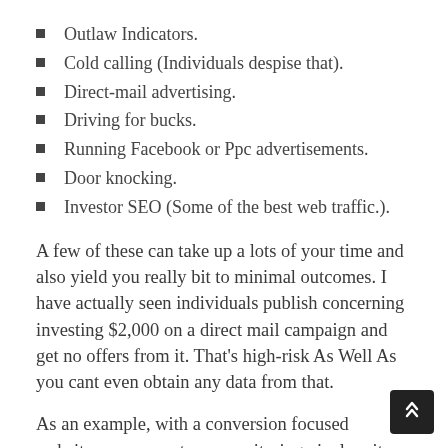Outlaw Indicators.
Cold calling (Individuals despise that).
Direct-mail advertising.
Driving for bucks.
Running Facebook or Ppc advertisements.
Door knocking.
Investor SEO (Some of the best web traffic.).
A few of these can take up a lots of your time and also yield you really bit to minimal outcomes. I have actually seen individuals publish concerning investing $2,000 on a direct mail campaign and get no offers from it. That's high-risk As Well As you cant even obtain any data from that.
As an example, with a conversion focused website, you can setup a monitoring pixel on it so that if somebody pertains to see your web site as well as